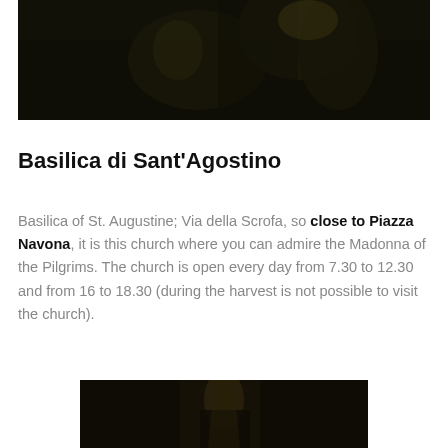[Figure (photo): Dark photograph showing figures/people in dramatic low-key lighting, appears to be a painting or artwork]
Basilica di Sant'Agostino
Basilica of St. Augustine; Via della Scrofa, so close to Piazza Navona, it is this church where you can admire the Madonna of the Pilgrims. The church is open every day from 7.30 to 12.30 and from 16 to 18.30 (during the harvest is not possible to visit the church).
[Figure (photo): Dark interior photograph of the basilica showing architectural details with dramatic lighting]